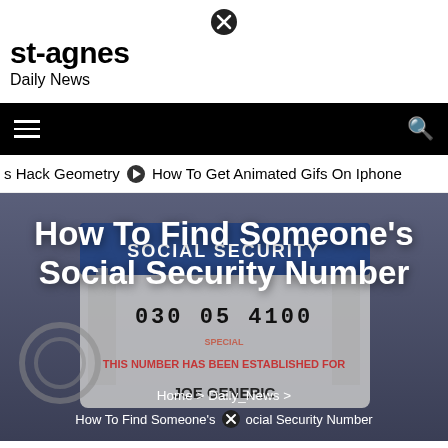st-agnes
Daily News
[Figure (screenshot): Website navigation bar with hamburger menu icon on left and search icon on right, black background]
s Hack Geometry ⊙ How To Get Animated Gifs On Iphone
[Figure (photo): Social Security card illustration with 'SOCIAL SECURITY' text and a number visible, used as hero image background]
How To Find Someone's Social Security Number
Home > Daily_News > How To Find Someone's Social Security Number